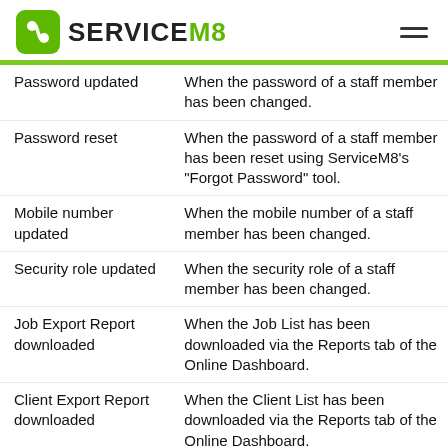ServiceM8
| Event | Description |
| --- | --- |
| Password updated | When the password of a staff member has been changed. |
| Password reset | When the password of a staff member has been reset using ServiceM8's "Forgot Password" tool. |
| Mobile number updated | When the mobile number of a staff member has been changed. |
| Security role updated | When the security role of a staff member has been changed. |
| Job Export Report downloaded | When the Job List has been downloaded via the Reports tab of the Online Dashboard. |
| Client Export Report downloaded | When the Client List has been downloaded via the Reports tab of the Online Dashboard. |